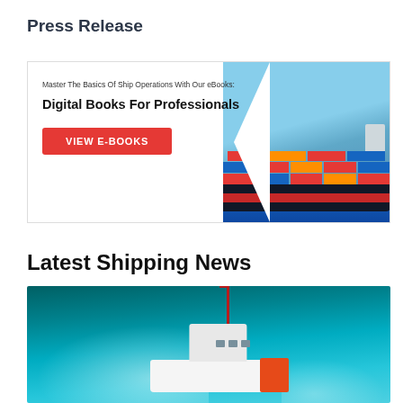Press Release
[Figure (infographic): Advertisement banner for digital eBooks about ship operations. Text reads: 'Master The Basics Of Ship Operations With Our eBooks:' and 'Digital Books For Professionals' with a 'VIEW E-BOOKS' red button. Right side shows a container ship image.]
Latest Shipping News
[Figure (photo): Aerial photo of a white tug boat navigating through turquoise-green ocean waters, creating a wake.]